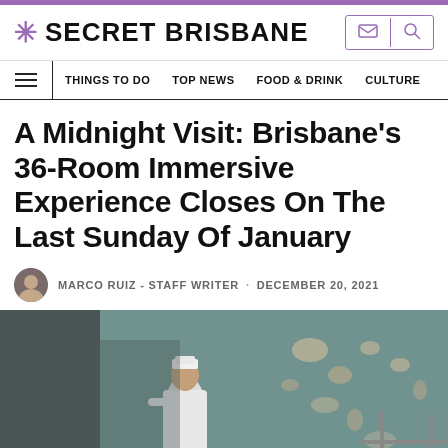SECRET BRISBANE
THINGS TO DO  TOP NEWS  FOOD & DRINK  CULTURE
A Midnight Visit: Brisbane's 36-Room Immersive Experience Closes On The Last Sunday Of January
MARCO RUIZ - STAFF WRITER · DECEMBER 20, 2021
[Figure (photo): A person dressed as a nurse in a white uniform and cap stands in a derelict room with peeling blue-green painted walls and an old metal bed frame.]